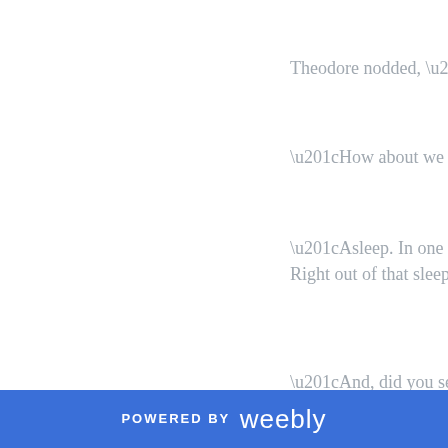“I hope you don’t plan on me
“You can stand if you want.”
Theodore found a chair and
“So, Theodore where were y
“You don’t sound Russian,”
Chekhov. The detective.”
“I was raised in Britain.”
Theodore nodded, “Explains
“How about we answer that
“Asleep. In one of those cha
Right out of that sleep. Her t
“And, did you see her go int
POWERED BY weebly